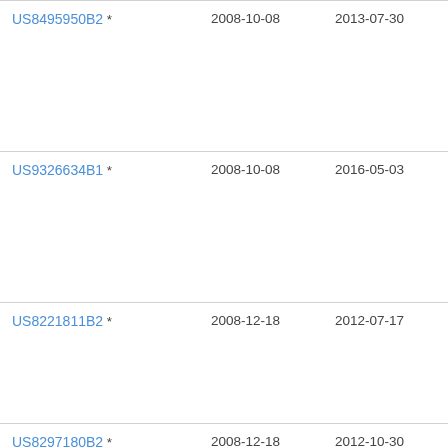| Patent | Filed | Published | Title (truncated) |
| --- | --- | --- | --- |
| US8495950B2 * | 2008-10-08 | 2013-07-30 | Voi
Tec |
| US9326634B1 * | 2008-10-08 | 2016-05-03 | Voi
Tec |
| US8221811B2 * | 2008-12-18 | 2012-07-17 | Wh |
| US8297180B2 * | 2008-12-18 | 2012-10-30 | Wh |